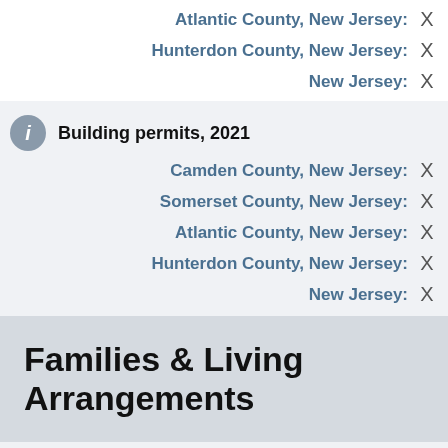Atlantic County, New Jersey: X
Hunterdon County, New Jersey: X
New Jersey: X
Building permits, 2021
Camden County, New Jersey: X
Somerset County, New Jersey: X
Atlantic County, New Jersey: X
Hunterdon County, New Jersey: X
New Jersey: X
Families & Living Arrangements
Households, 2016-2020
Camden County, New Jersey:
Somerset County, New Jersey: